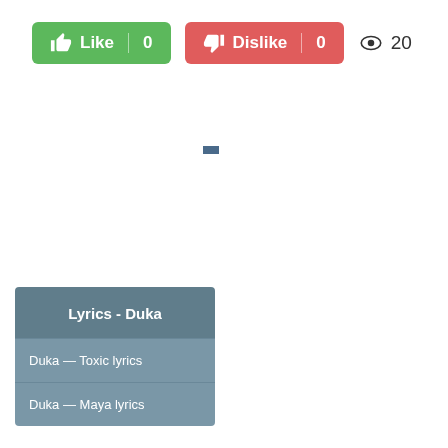[Figure (other): Like button (green) showing thumbs up icon, text 'Like', separator, count '0']
[Figure (other): Dislike button (red) showing thumbs down icon, text 'Dislike', separator, count '0']
[Figure (other): Eye/views icon with count '20']
[Figure (other): Small dark blue rectangle element]
Lyrics - Duka
Duka — Toxic lyrics
Duka — Maya lyrics